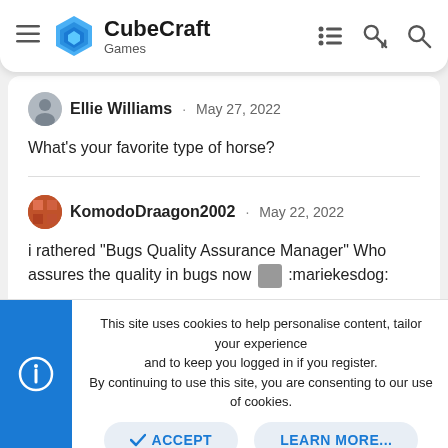CubeCraft Games
Ellie Williams · May 27, 2022
What's your favorite type of horse?
KomodoDraagon2002 · May 22, 2022
i rathered "Bugs Quality Assurance Manager" Who assures the quality in bugs now :mariekesdog:
TheMrSpacee, Komodo and Marieke2001
This site uses cookies to help personalise content, tailor your experience and to keep you logged in if you register.
By continuing to use this site, you are consenting to our use of cookies.